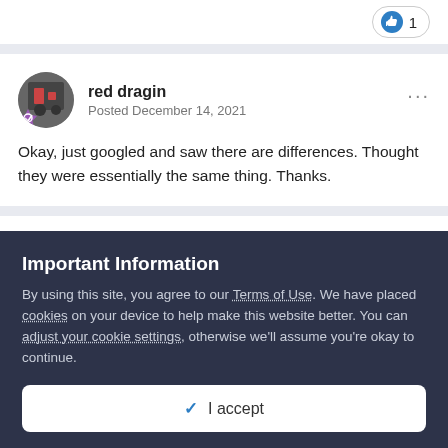[Figure (other): Like button with thumb up icon and count of 1]
red dragin
Posted December 14, 2021
Okay, just googled and saw there are differences. Thought they were essentially the same thing. Thanks.
Naazon
Important Information
By using this site, you agree to our Terms of Use. We have placed cookies on your device to help make this website better. You can adjust your cookie settings, otherwise we'll assume you're okay to continue.
✓ I accept